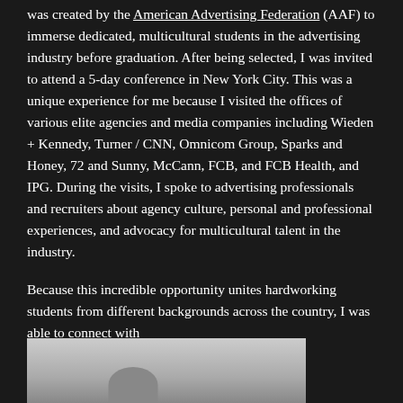was created by the American Advertising Federation (AAF) to immerse dedicated, multicultural students in the advertising industry before graduation. After being selected, I was invited to attend a 5-day conference in New York City. This was a unique experience for me because I visited the offices of various elite agencies and media companies including Wieden + Kennedy, Turner / CNN, Omnicom Group, Sparks and Honey, 72 and Sunny, McCann, FCB, and FCB Health, and IPG. During the visits, I spoke to advertising professionals and recruiters about agency culture, personal and professional experiences, and advocacy for multicultural talent in the industry.
Because this incredible opportunity unites hardworking students from different backgrounds across the country, I was able to connect with
[Figure (photo): A photograph partially visible at the bottom of the page showing what appears to be a person or people, cropped at the bottom edge.]